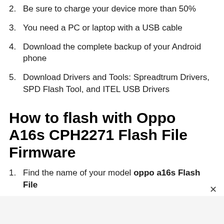2. Be sure to charge your device more than 50%
3. You need a PC or laptop with a USB cable
4. Download the complete backup of your Android phone
5. Download Drivers and Tools: Spreadtrum Drivers, SPD Flash Tool, and ITEL USB Drivers
How to flash with Oppo A16s CPH2271 Flash File Firmware
1. Find the name of your model oppo a16s Flash File
2. Check your Android version now running
3. Check your Android phone model/processor model such